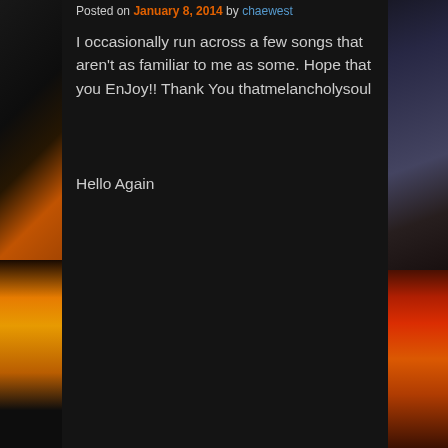Posted on January 8, 2014 by chaewest
I occasionally run across a few songs that aren't as familiar to me as some. Hope that you EnJoy!! Thank You thatmelancholysoul
Hello Again
[Figure (other): Embedded media plugin placeholder showing 'Couldn't load plugin.']